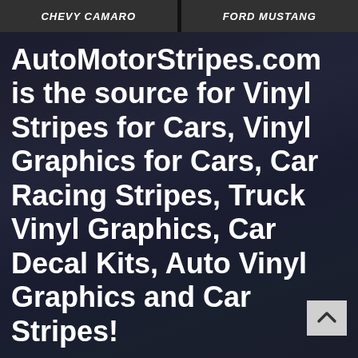CHEVY CAMARO | FORD MUSTANG
AutoMotorStripes.com is the source for Vinyl Stripes for Cars, Vinyl Graphics for Cars, Car Racing Stripes, Truck Vinyl Graphics, Car Decal Kits, Auto Vinyl Graphics and Car Stripes!
Auto Motor Stripes has been in the auto trim business since the 1980's, and we are the leader among online and dealer direct auto vinyl graphics stores. Providing OE style automotive vinyl graphic kits, vinyl stripes for cars, vinyl graphics for cars, car racing & rally stripes, truck graphics, with car decal kits and more for domestic and imported passenger cars and trucks. We use a modern order processing system that allows us to supply our customers with quality vinyl graphic body stripes, universal fit vinyl car stripe kits, cut-to-fit vehicle specific vinyl graphic kits,